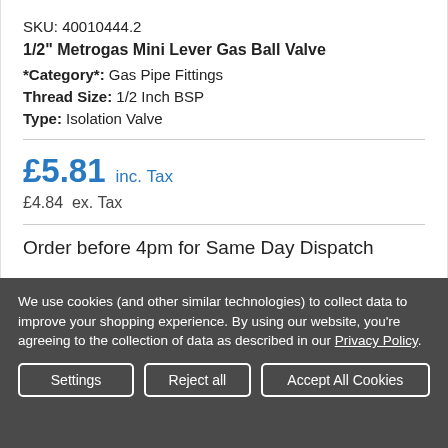SKU: 40010444.2
1/2" Metrogas Mini Lever Gas Ball Valve
*Category*: Gas Pipe Fittings
Thread Size: 1/2 Inch BSP
Type: Isolation Valve
£5.81 inc. Tax
£4.84  ex. Tax
Order before 4pm for Same Day Dispatch
We use cookies (and other similar technologies) to collect data to improve your shopping experience. By using our website, you're agreeing to the collection of data as described in our Privacy Policy.
Settings | Reject all | Accept All Cookies